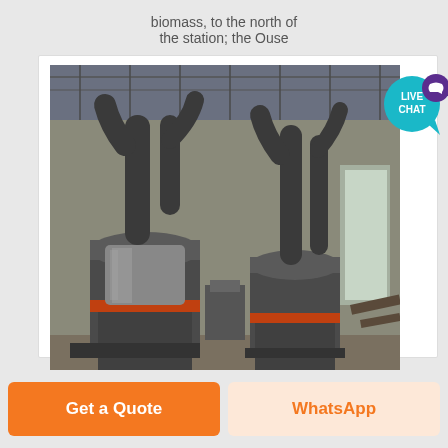biomass, to the north of the station; the Ouse
[Figure (photo): Industrial milling or grinding machines inside a large factory/warehouse, showing large cylindrical machines with piping and conveyor systems]
Study Of LANCO 2*600 MW Udupi
Get a Quote
WhatsApp